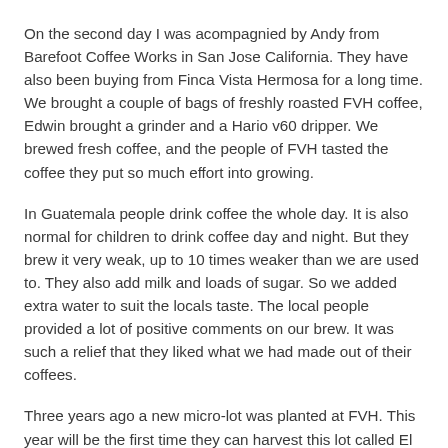On the second day I was acompagnied by Andy from Barefoot Coffee Works in San Jose California. They have also been buying from Finca Vista Hermosa for a long time. We brought a couple of bags of freshly roasted FVH coffee, Edwin brought a grinder and a Hario v60 dripper. We brewed fresh coffee, and the people of FVH tasted the coffee they put so much effort into growing.
In Guatemala people drink coffee the whole day. It is also normal for children to drink coffee day and night. But they brew it very weak, up to 10 times weaker than we are used to. They also add milk and loads of sugar. So we added extra water to suit the locals taste. The local people provided a lot of positive comments on our brew. It was such a relief that they liked what we had made out of their coffees.
Three years ago a new micro-lot was planted at FVH. This year will be the first time they can harvest this lot called El Mirador. This has produced about two export bags (120 kg) this year. This lot is located at the very top of the farm between 2000-2200 MASL. This is one of the highest